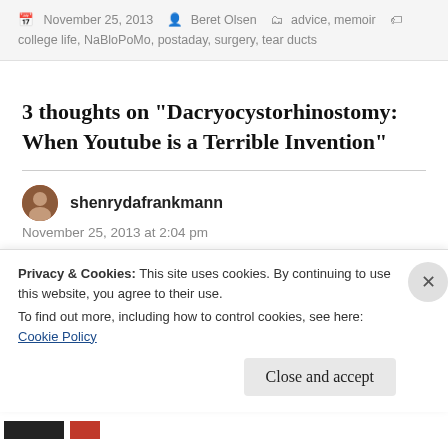November 25, 2013  Beret Olsen  advice, memoir  college life, NaBloPoMo, postaday, surgery, tear ducts
3 thoughts on “Dacryocystorhinostomy: When Youtube is a Terrible Invention”
shenrydafrankmann
November 25, 2013 at 2:04 pm

Ain’t YouTube great? I just had gallbladder surgery, something you needed to know (not) and a week
Privacy & Cookies: This site uses cookies. By continuing to use this website, you agree to their use.
To find out more, including how to control cookies, see here: Cookie Policy
Close and accept